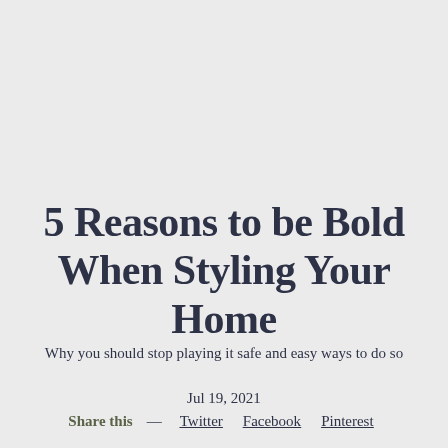5 Reasons to be Bold When Styling Your Home
Why you should stop playing it safe and easy ways to do so
Jul 19, 2021
Share this — Twitter Facebook Pinterest